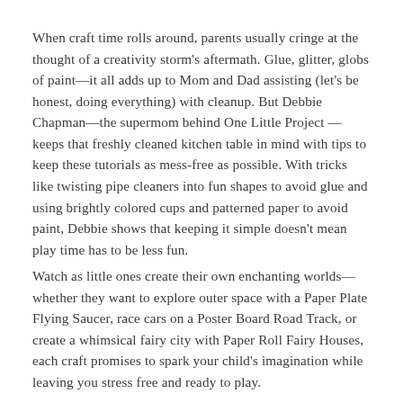When craft time rolls around, parents usually cringe at the thought of a creativity storm's aftermath. Glue, glitter, globs of paint—it all adds up to Mom and Dad assisting (let's be honest, doing everything) with cleanup. But Debbie Chapman—the supermom behind One Little Project —keeps that freshly cleaned kitchen table in mind with tips to keep these tutorials as mess-free as possible. With tricks like twisting pipe cleaners into fun shapes to avoid glue and using brightly colored cups and patterned paper to avoid paint, Debbie shows that keeping it simple doesn't mean play time has to be less fun.
Watch as little ones create their own enchanting worlds—whether they want to explore outer space with a Paper Plate Flying Saucer, race cars on a Poster Board Road Track, or create a whimsical fairy city with Paper Roll Fairy Houses, each craft promises to spark your child's imagination while leaving you stress free and ready to play.